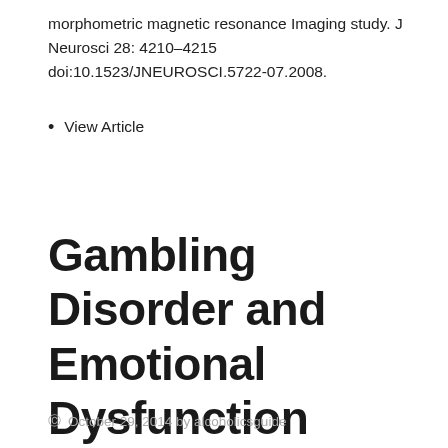morphometric magnetic resonance Imaging study. J Neurosci 28: 4210–4215 doi:10.1523/JNEUROSCI.5722-07.2008.
View Article
Gambling Disorder and Emotional Dysfunction
© October 29, 2014 by alcoholicsguide